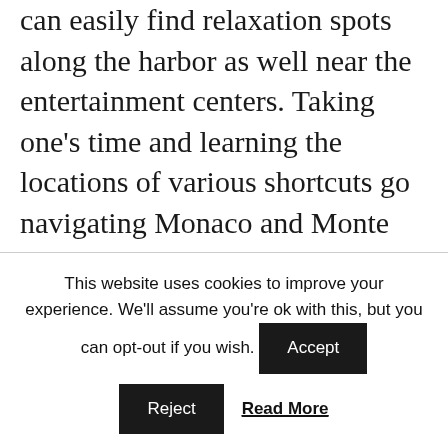can easily find relaxation spots along the harbor as well near the entertainment centers. Taking one’s time and learning the locations of various shortcuts go navigating Monaco and Monte Carlo. First, get a city map, which is available at most newsstands and shops at a small price. Now that you are ready, let us start the anticipated investigation of
This website uses cookies to improve your experience. We'll assume you're ok with this, but you can opt-out if you wish.
Accept
Reject
Read More